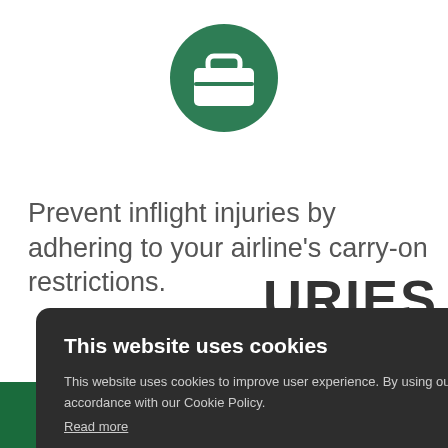[Figure (logo): Green circular icon with a white briefcase/luggage silhouette in the center]
Prevent inflight injuries by adhering to your airline's carry-on restrictions.
[Figure (screenshot): Cookie consent modal overlay with dark background. Title: 'This website uses cookies'. Body: 'This website uses cookies to improve user experience. By using our website you consent to all cookies in accordance with our Cookie Policy.' Link: 'Read more'. Two buttons: 'ACCEPT ALL' (green) and 'DECLINE ALL' (outline). Close X button top right. Background shows partial text 'URIES' and 'NOW' button and green bar at bottom.]